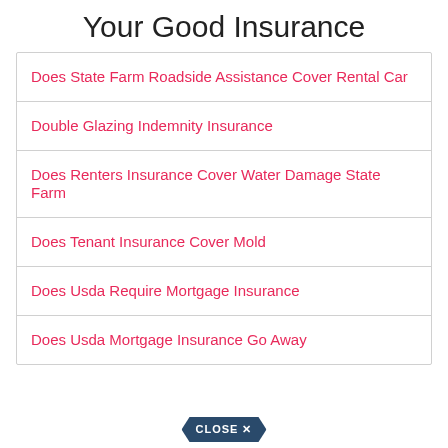Your Good Insurance
Does State Farm Roadside Assistance Cover Rental Car
Double Glazing Indemnity Insurance
Does Renters Insurance Cover Water Damage State Farm
Does Tenant Insurance Cover Mold
Does Usda Require Mortgage Insurance
Does Usda Mortgage Insurance Go Away